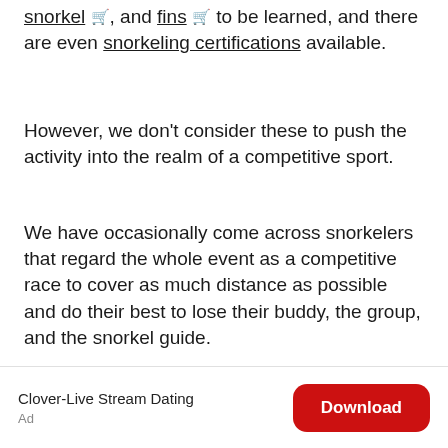snorkel 🛒, and fins 🛒 to be learned, and there are even snorkeling certifications available.
However, we don't consider these to push the activity into the realm of a competitive sport.
We have occasionally come across snorkelers that regard the whole event as a competitive race to cover as much distance as possible and do their best to lose their buddy, the group, and the snorkel guide.
Clover-Live Stream Dating
Ad
Download